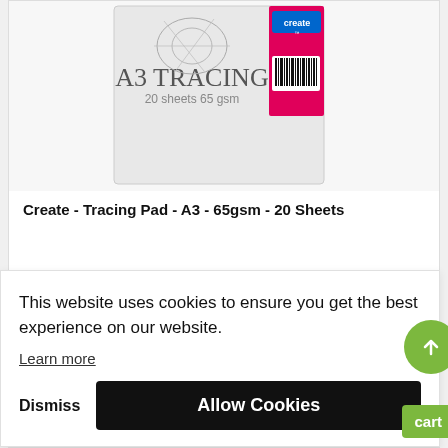[Figure (photo): Product image of Create A3 Tracing Pad - 20 sheets 65gsm, with pink and white packaging and barcode]
Create - Tracing Pad - A3 - 65gsm - 20 Sheets
€6.25
In stock
This website uses cookies to ensure you get the best experience on our website.
Learn more
Dismiss
Allow Cookies